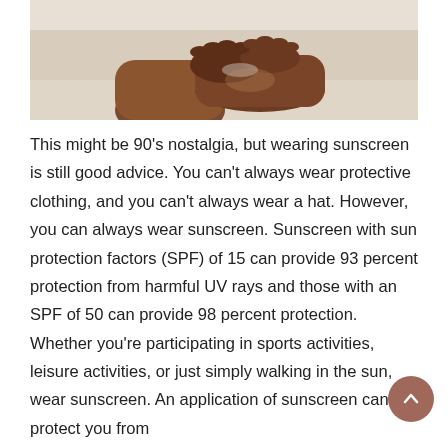[Figure (photo): Close-up photo of a person applying sunscreen or lotion to their leg, showing dark-skinned hands and lower legs against a light background.]
This might be 90's nostalgia, but wearing sunscreen is still good advice. You can't always wear protective clothing, and you can't always wear a hat. However, you can always wear sunscreen. Sunscreen with sun protection factors (SPF) of 15 can provide 93 percent protection from harmful UV rays and those with an SPF of 50 can provide 98 percent protection. Whether you're participating in sports activities, leisure activities, or just simply walking in the sun, wear sunscreen. An application of sunscreen can protect you from